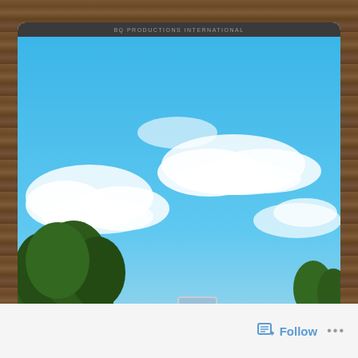BQ PRODUCTIONS INTERNATIONAL
[Figure (photo): Road scene with a silver SUV driving on a highway under a bright blue sky with white clouds. Trees visible on left and right sides. Orange traffic cone visible. Another vehicle in the distance.]
[Figure (photo): Strip photo showing people, appears to be a crowd scene with colorful clothing.]
Avenue Theater
LLOYD ABELLA : THE RELUCTANT STAR
Follow
...